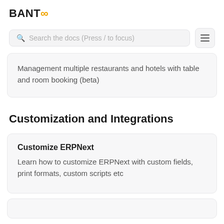BANTOO
Search the docs (Press / to focus)
Management multiple restaurants and hotels with table and room booking (beta)
Customization and Integrations
Customize ERPNext
Learn how to customize ERPNext with custom fields, print formats, custom scripts etc